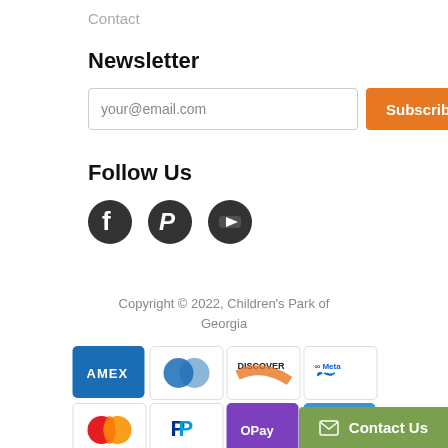Contact
Newsletter
your@email.com
Subscribe
Follow Us
[Figure (illustration): Three social media icons: Facebook, Pinterest, YouTube — dark circular icons]
Copyright © 2022, Children's Park of Georgia
[Figure (infographic): Payment method icons: AMEX, Diners Club, Discover, Meta, Mastercard, PayPal, OPay, Venmo, Visa]
Contact Us